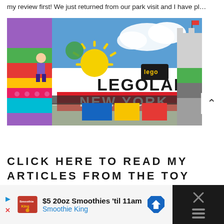my review first! We just returned from our park visit and I have pl…
[Figure (photo): Legoland New York theme park entrance with colorful LEGO figures and large LEGOLAND NEW YORK sign]
CLICK HERE TO READ MY ARTICLES FROM THE TOY INSIDER!
[Figure (other): Advertisement banner: $5 20oz Smoothies 'til 11am - Smoothie King with navigation arrow icon]